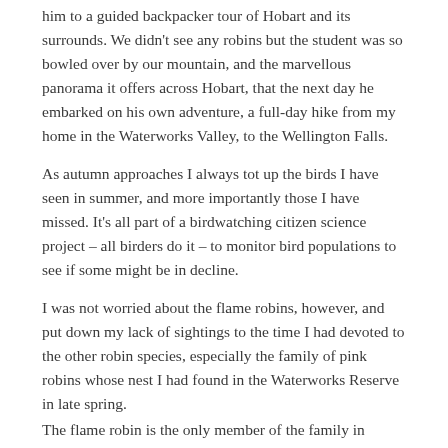him to a guided backpacker tour of Hobart and its surrounds. We didn't see any robins but the student was so bowled over by our mountain, and the marvellous panorama it offers across Hobart, that the next day he embarked on his own adventure, a full-day hike from my home in the Waterworks Valley, to the Wellington Falls.
As autumn approaches I always tot up the birds I have seen in summer, and more importantly those I have missed. It's all part of a birdwatching citizen science project – all birders do it – to monitor bird populations to see if some might be in decline.
I was not worried about the flame robins, however, and put down my lack of sightings to the time I had devoted to the other robin species, especially the family of pink robins whose nest I had found in the Waterworks Reserve in late spring.
The flame robin is the only member of the family in Tasmania to